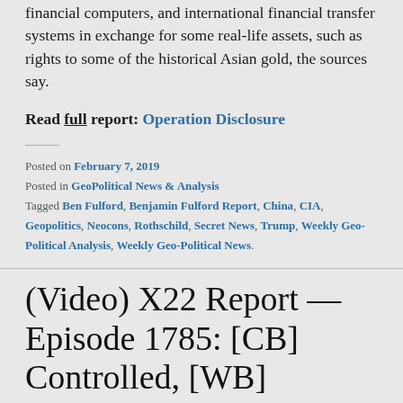financial computers, and international financial transfer systems in exchange for some real-life assets, such as rights to some of the historical Asian gold, the sources say.
Read full report: Operation Disclosure
Posted on February 7, 2019
Posted in GeoPolitical News & Analysis
Tagged Ben Fulford, Benjamin Fulford Report, China, CIA, Geopolitics, Neocons, Rothschild, Secret News, Trump, Weekly Geo-Political Analysis, Weekly Geo-Political News.
(Video) X22 Report — Episode 1785: [CB] Controlled, [WB] Controlled, Globalist